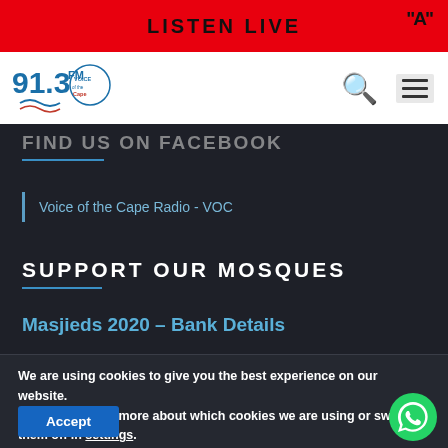LISTEN LIVE
[Figure (logo): 91.3 FM Voice of the Cape radio station logo]
FIND US ON FACEBOOK
Voice of the Cape Radio - VOC
SUPPORT OUR MOSQUES
Masjieds 2020 – Bank Details
We are using cookies to give you the best experience on our website. You can find out more about which cookies we are using or switch them off in settings.